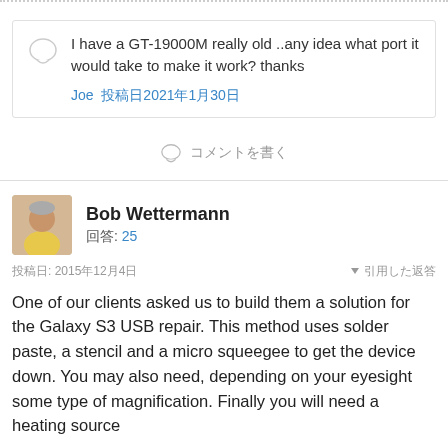I have a GT-19000M really old ..any idea what port it would take to make it work? thanks
Joe 投稿日2021年1月30日
コメントを書く
Bob Wettermann
回答: 25
投稿日: 2015年12月4日
引用した返答
One of our clients asked us to build them a solution for the Galaxy S3 USB repair. This method uses solder paste, a stencil and a micro squeegee to get the device down. You may also need, depending on your eyesight some type of magnification. Finally you will need a heating source